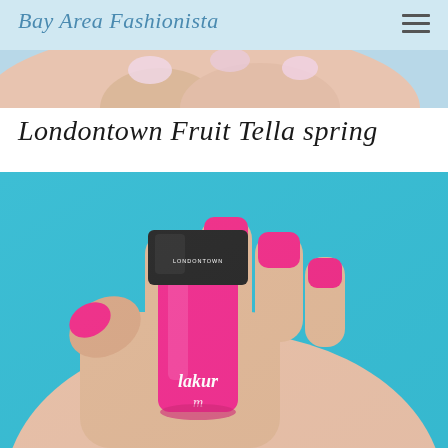Bay Area Fashionista
[Figure (photo): Banner photo of a hand with light pink painted nails on a light blue background, partially visible at bottom of header]
Londontown Fruit Tella spring
[Figure (photo): Close-up photo of a hand with hot pink nails holding a Londontown 'lakur' nail polish bottle against a bright teal/turquoise background]